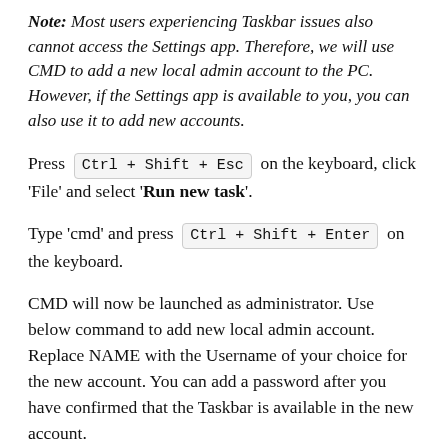Note: Most users experiencing Taskbar issues also cannot access the Settings app. Therefore, we will use CMD to add a new local admin account to the PC. However, if the Settings app is available to you, you can also use it to add new accounts.
Press Ctrl + Shift + Esc on the keyboard, click 'File' and select 'Run new task'.
Type 'cmd' and press Ctrl + Shift + Enter on the keyboard.
CMD will now be launched as administrator. Use below command to add new local admin account. Replace NAME with the Username of your choice for the new account. You can add a password after you have confirmed that the Taskbar is available in the new account.
[code box - command input area]